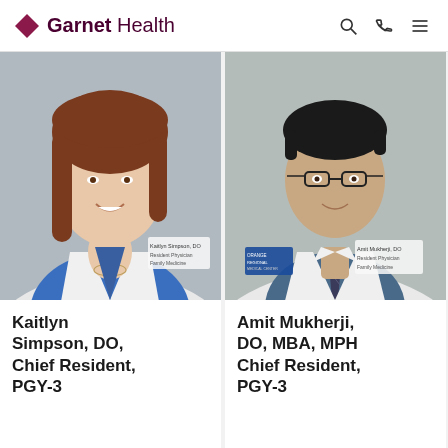Garnet Health
[Figure (photo): Headshot of Kaitlyn Simpson, DO — woman in white coat with name badge reading 'Kaitlyn Simpson, DO, Resident Physician, Family Medicine']
Kaitlyn Simpson, DO, Chief Resident, PGY-3
[Figure (photo): Headshot of Amit Mukherji, DO — man in white coat with glasses, name badge reading 'Amit Mukherji, DO, Resident Physician, Family Medicine', Orange Regional Medical Center badge visible]
Amit Mukherji, DO, MBA, MPH Chief Resident, PGY-3